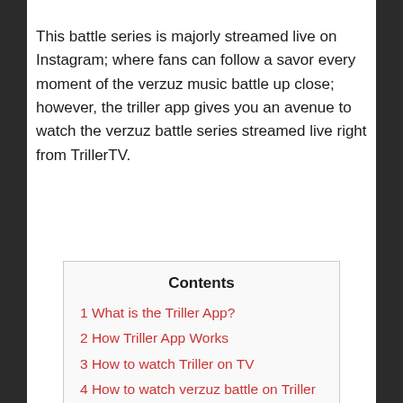This battle series is majorly streamed live on Instagram; where fans can follow a savor every moment of the verzuz music battle up close; however, the triller app gives you an avenue to watch the verzuz battle series streamed live right from TrillerTV.
| Contents |
| --- |
| 1 What is the Triller App? |
| 2 How Triller App Works |
| 3 How to watch Triller on TV |
| 4 How to watch verzuz battle on Triller App |
| 5 About Triller Fight Club |